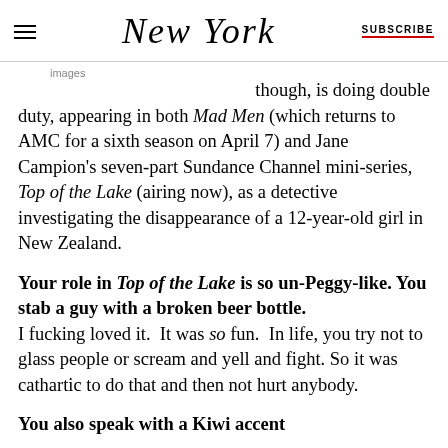New York | SUBSCRIBE
images
though, is doing double duty, appearing in both Mad Men (which returns to AMC for a sixth season on April 7) and Jane Campion's seven-part Sundance Channel mini-series, Top of the Lake (airing now), as a detective investigating the disappearance of a 12-year-old girl in New Zealand.
Your role in Top of the Lake is so un-Peggy-like. You stab a guy with a broken beer bottle. I fucking loved it. It was so fun. In life, you try not to glass people or scream and yell and fight. So it was cathartic to do that and then not hurt anybody.
You also speak with a Kiwi accent